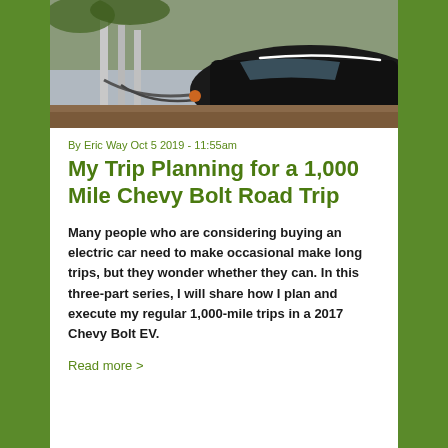[Figure (photo): Photo of an electric vehicle charging at a charging station, dark car with charging cables visible]
By Eric Way Oct 5 2019 - 11:55am
My Trip Planning for a 1,000 Mile Chevy Bolt Road Trip
Many people who are considering buying an electric car need to make occasional make long trips, but they wonder whether they can. In this three-part series, I will share how I plan and execute my regular 1,000-mile trips in a 2017 Chevy Bolt EV.
Read more >